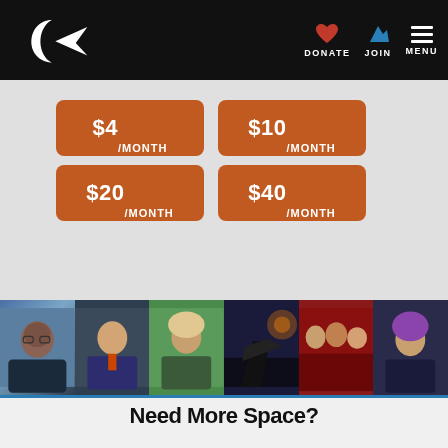Planetary Society navigation bar with DONATE, JOIN, MENU
$4/MONTH
$10/MONTH
$20/MONTH
$40/MONTH
[Figure (photo): Strip of five photos showing diverse people including scientists, astronomers, and astronomy enthusiasts]
Need More Space?
Sign up for updates, weekly tools, and exclusive opportunities to support